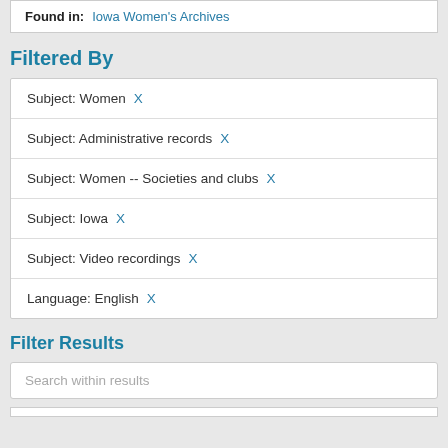Found in: Iowa Women's Archives
Filtered By
Subject: Women X
Subject: Administrative records X
Subject: Women -- Societies and clubs X
Subject: Iowa X
Subject: Video recordings X
Language: English X
Filter Results
Search within results